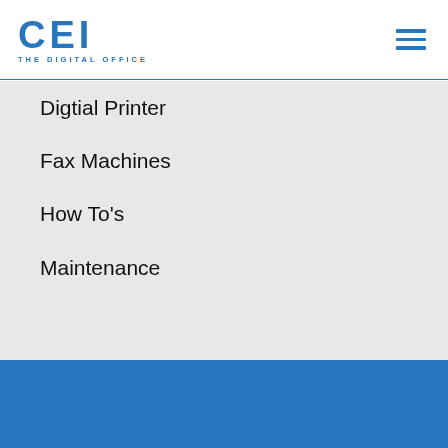CEI THE DIGITAL OFFICE
Digtial Printer
Fax Machines
How To's
Maintenance
Managed IT
Marketing
Printers